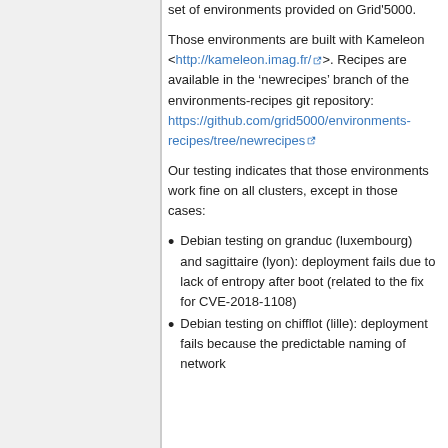set of environments provided on Grid'5000.
Those environments are built with Kameleon <http://kameleon.imag.fr/ >. Recipes are available in the 'newrecipes' branch of the environments-recipes git repository: https://github.com/grid5000/environments-recipes/tree/newrecipes
Our testing indicates that those environments work fine on all clusters, except in those cases:
Debian testing on granduc (luxembourg) and sagittaire (lyon): deployment fails due to lack of entropy after boot (related to the fix for CVE-2018-1108)
Debian testing on chifflot (lille): deployment fails because the predictable naming of network